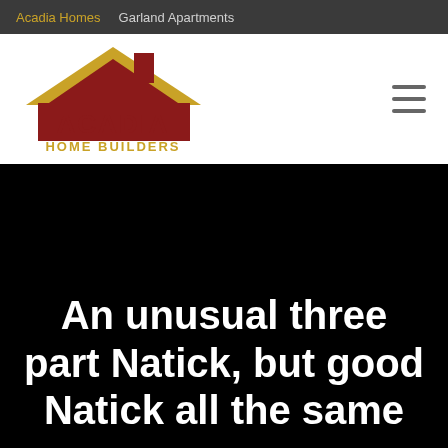Acadia Homes | Garland Apartments
[Figure (logo): Acadia Home Builders logo with house icon in dark red and gold, text ACADIA HOME BUILDERS in dark red and gold]
An unusual three part Natick, but good Natick all the same